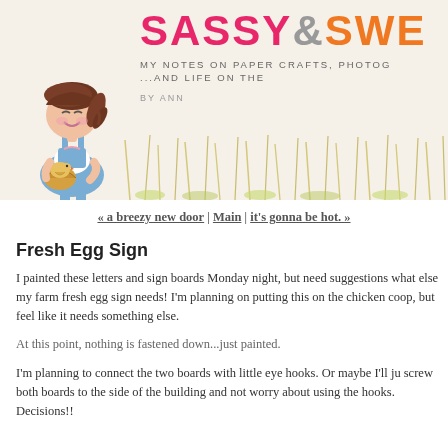[Figure (illustration): Blog header banner for 'Sassy & Sweet' blog. Features a cartoon girl character with brown pigtail hair, wearing overalls, holding a chicken/egg basket. Background has illustrated grass/wheat. Title text reads 'SASSY & SWE...' (cut off) in pink and orange. Subtitle reads 'My Notes on paper crafts, photo... ...and life on the...' and 'by Ann...']
« a breezy new door | Main | it's gonna be hot. »
Fresh Egg Sign
I painted these letters and sign boards Monday night, but need suggestions what else my farm fresh egg sign needs! I'm planning on putting this on the chicken coop, but feel like it needs something else.
At this point, nothing is fastened down...just painted.
I'm planning to connect the two boards with little eye hooks. Or maybe I'll ju screw both boards to the side of the building and not worry about using the hooks. Decisions!!